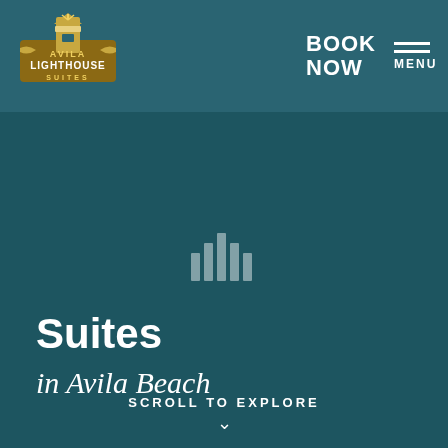Avila Lighthouse Suites — BOOK NOW | MENU
[Figure (other): Vertical loading/progress bar icon with 5 vertical bars of varying heights, centered on the page]
Suites
in Avila Beach
SCROLL TO EXPLORE